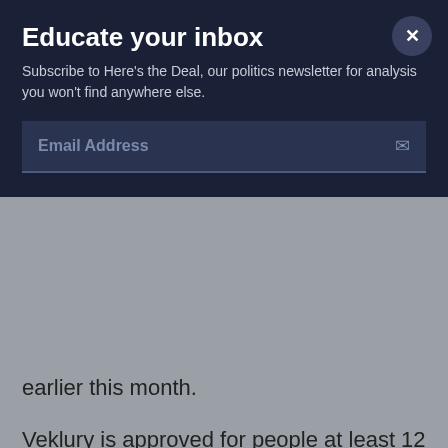Educate your inbox
Subscribe to Here's the Deal, our politics newsletter for analysis you won't find anywhere else.
Email Address
earlier this month.
Veklury is approved for people at least 12 years old and weighing at least 88 pounds (40 kilograms) who need hospitalization for their coronavirus infection. For patients younger than 12, the FDA will still allow the drug's use in certain cases under its previous emergency authorization.